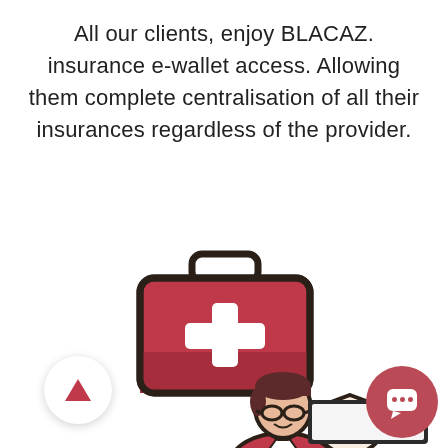All our clients, enjoy BLACAZ. insurance e-wallet access. Allowing them complete centralisation of all their insurances regardless of the provider.
[Figure (illustration): Red first-aid / medical kit icon with white cross on the front and dark outline]
[Figure (illustration): Cartoon illustration of a professional person (insurance agent) with glasses, dark hair, wearing a red blazer]
[Figure (illustration): Partial view of a shield with checkmark icon (insurance badge)]
[Figure (illustration): Partial view of a laptop/computer screen showing 'Home' label]